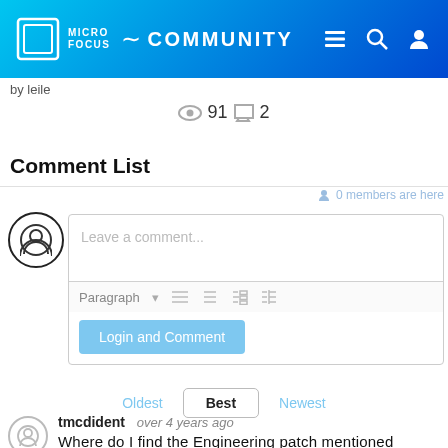[Figure (screenshot): Micro Focus Community website header with logo, navigation icons (menu, search, user)]
by leile
👁 91  💬 2
Comment List
[Figure (screenshot): Comment input area with avatar icon, '0 members are here', Leave a comment placeholder, Paragraph toolbar, Login and Comment button]
Oldest  Best  Newest
tmcdident  over 4 years ago
Where do I find the Engineering patch mentioned ?????
^ 0